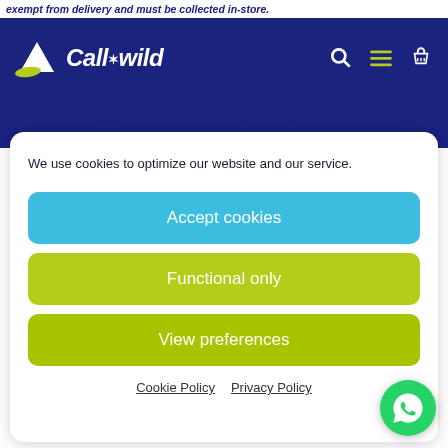exempt from delivery and must be collected in-store.
[Figure (logo): Call of the Wild logo with mountain and green swoosh on dark navy background, with search, menu, and basket icons]
We use cookies to optimize our website and our service.
Accept cookies
Functional only
View preferences
Cookie Policy   Privacy Policy